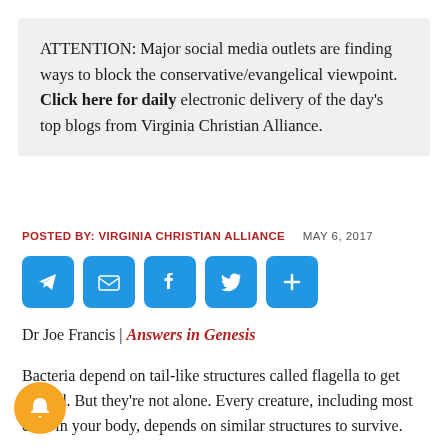ATTENTION: Major social media outlets are finding ways to block the conservative/evangelical viewpoint. Click here for daily electronic delivery of the day's top blogs from Virginia Christian Alliance.
POSTED BY: VIRGINIA CHRISTIAN ALLIANCE   MAY 6, 2017
[Figure (infographic): Row of five social sharing icon buttons: Telegram, Email, Facebook, Twitter, and a plus/share button, all in blue with white icons.]
Dr Joe Francis | Answers in Genesis
Bacteria depend on tail-like structures called flagella to get around. But they're not alone. Every creature, including most cells in your body, depends on similar structures to survive.